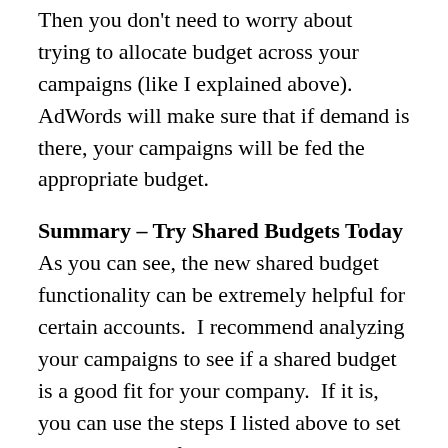Then you don't need to worry about trying to allocate budget across your campaigns (like I explained above). AdWords will make sure that if demand is there, your campaigns will be fed the appropriate budget.
Summary – Try Shared Budgets Today
As you can see, the new shared budget functionality can be extremely helpful for certain accounts.  I recommend analyzing your campaigns to see if a shared budget is a good fit for your company.  If it is, you can use the steps I listed above to set one up today.  If your campaigns are performing well, then